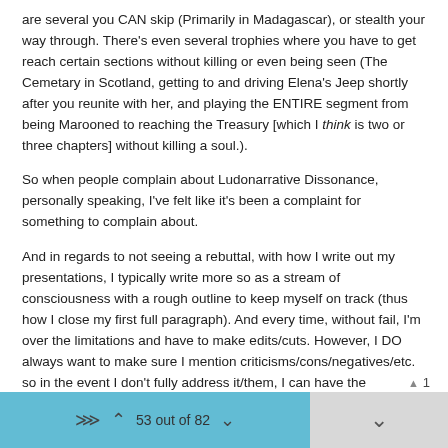are several you CAN skip (Primarily in Madagascar), or stealth your way through. There's even several trophies where you have to get reach certain sections without killing or even being seen (The Cemetary in Scotland, getting to and driving Elena's Jeep shortly after you reunite with her, and playing the ENTIRE segment from being Marooned to reaching the Treasury [which I think is two or three chapters] without killing a soul.).
So when people complain about Ludonarrative Dissonance, personally speaking, I've felt like it's been a complaint for something to complain about.
And in regards to not seeing a rebuttal, with how I write out my presentations, I typically write more so as a stream of consciousness with a rough outline to keep myself on track (thus how I close my first full paragraph). And every time, without fail, I'm over the limitations and have to make edits/cuts. However, I DO always want to make sure I mention criticisms/cons/negatives/etc. so in the event I don't fully address it/them, I can have the opportunity to answer questions such as yours, so thank you! ^.^
53 out of 82